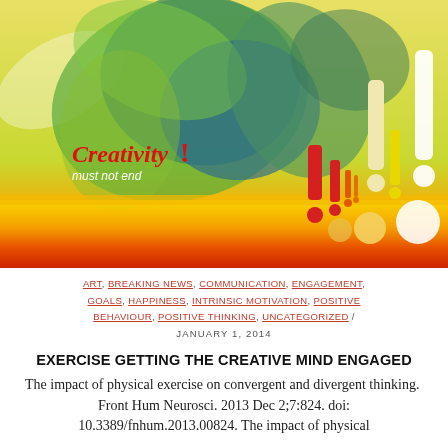[Figure (illustration): Colorful artistic image with yellow-green abstract leaf/brain shapes on a yellow-orange-red gradient background. Text overlay reads 'Creativity! must not end' in red and white. Multiple exclamation marks in red, yellow, and white are scattered across the image.]
ART, BREAKING NEWS, COMMUNICATION, ENGAGEMENT, GOALS, HAPPINESS, INTRINSIC MOTIVATION, POSITIVE BEHAVIOUR, POSITIVE THINKING, UNCATEGORIZED / JANUARY 1, 2014
EXERCISE GETTING THE CREATIVE MIND ENGAGED
The impact of physical exercise on convergent and divergent thinking.  Front Hum Neurosci. 2013 Dec 2;7:824. doi: 10.3389/fnhum.2013.00824. The impact of physical